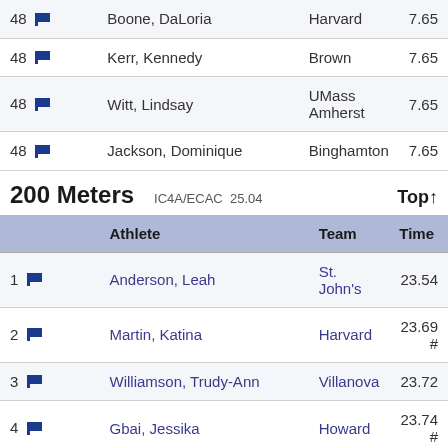|  | Athlete | Team | Time |
| --- | --- | --- | --- |
| 48 | Boone, DaLoria | Harvard | 7.65 |
| 48 | Kerr, Kennedy | Brown | 7.65 |
| 48 | Witt, Lindsay | UMass Amherst | 7.65 |
| 48 | Jackson, Dominique | Binghamton | 7.65 |
200 Meters  IC4A/ECAC 25.04   Top↑
|  | Athlete | Team | Time |
| --- | --- | --- | --- |
| 1 | Anderson, Leah | St. John's | 23.54 |
| 2 | Martin, Katina | Harvard | 23.69 # |
| 3 | Williamson, Trudy-Ann | Villanova | 23.72 |
| 4 | Gbai, Jessika | Howard | 23.74 # |
| 5 | McMullen, Calli | Army West Point | 23.82 |
| 6 | Willis, Meredith | James Madison | 23.85 |